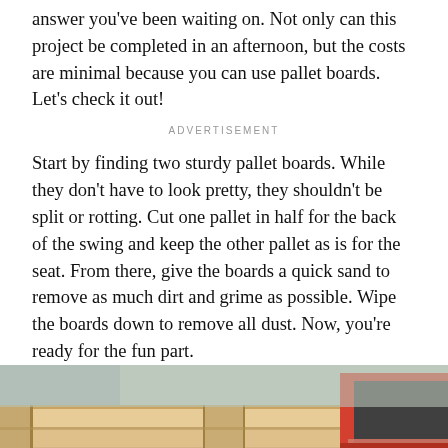answer you've been waiting on. Not only can this project be completed in an afternoon, but the costs are minimal because you can use pallet boards. Let's check it out!
ADVERTISEMENT
Start by finding two sturdy pallet boards. While they don't have to look pretty, they shouldn't be split or rotting. Cut one pallet in half for the back of the swing and keep the other pallet as is for the seat. From there, give the boards a quick sand to remove as much dirt and grime as possible. Wipe the boards down to remove all dust. Now, you're ready for the fun part.
[Figure (photo): A red rectangular tray/container sitting on top of wooden pallet boards, viewed from the front]